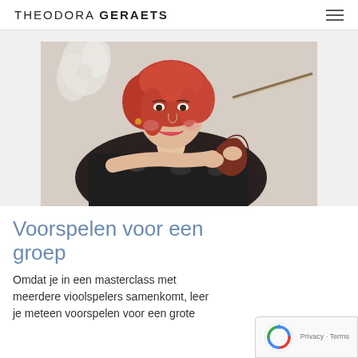THEODORA GERAETS
[Figure (photo): Woman with red hair smiling, holding a violin and bow, wearing a black and white patterned dress, with a white flower in the background.]
Voorspelen voor een groep
Omdat je in een masterclass met meerdere vioolspelers samenkomt, leer je meteen voorspelen voor een grote